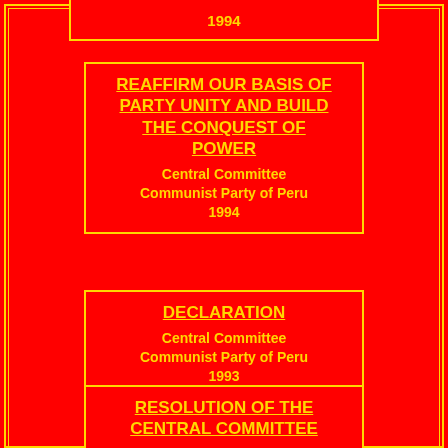1994
REAFFIRM OUR BASIS OF PARTY UNITY AND BUILD THE CONQUEST OF POWER
Central Committee
Communist Party of Peru
1994
DECLARATION
Central Committee
Communist Party of Peru
1993
RESOLUTION OF THE CENTRAL COMMITTEE
Central Committee
Communist Party of Peru
1992